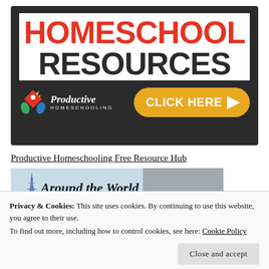[Figure (illustration): Homeschool Resources banner advertisement with red 'HOMESCHOOL' and black 'RESOURCES' text on white box, Productive Homeschooling logo on dark background, and yellow 'CLICK HERE' button with arrow]
Productive Homeschooling Free Resource Hub
[Figure (photo): Around the World themed banner image with Eiffel Tower icon and italic text 'Around the World']
Privacy & Cookies: This site uses cookies. By continuing to use this website, you agree to their use.
To find out more, including how to control cookies, see here: Cookie Policy
Close and accept